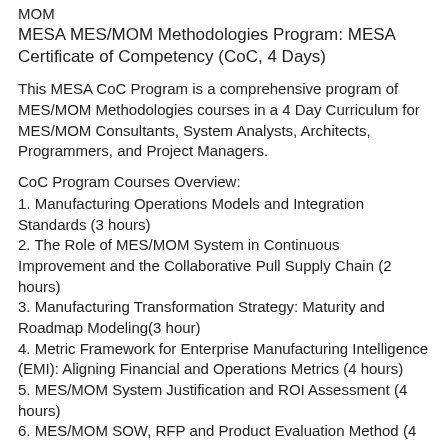MOM
MESA MES/MOM Methodologies Program: MESA Certificate of Competency (CoC, 4 Days)
This MESA CoC Program is a comprehensive program of MES/MOM Methodologies courses in a 4 Day Curriculum for MES/MOM Consultants, System Analysts, Architects, Programmers, and Project Managers.
CoC Program Courses Overview:
1. Manufacturing Operations Models and Integration Standards (3 hours)
2. The Role of MES/MOM System in Continuous Improvement and the Collaborative Pull Supply Chain (2 hours)
3. Manufacturing Transformation Strategy: Maturity and Roadmap Modeling(3 hour)
4. Metric Framework for Enterprise Manufacturing Intelligence (EMI): Aligning Financial and Operations Metrics (4 hours)
5. MES/MOM System Justification and ROI Assessment (4 hours)
6. MES/MOM SOW, RFP and Product Evaluation Method (4